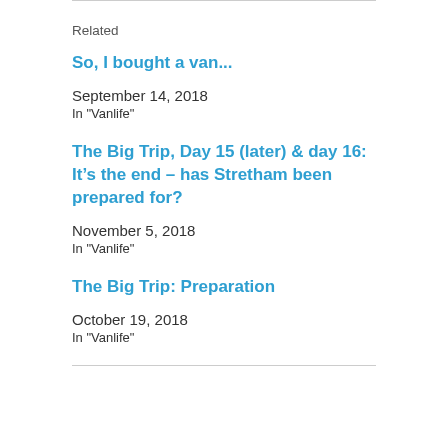Related
So, I bought a van...
September 14, 2018
In "Vanlife"
The Big Trip, Day 15 (later) & day 16: It’s the end – has Stretham been prepared for?
November 5, 2018
In "Vanlife"
The Big Trip: Preparation
October 19, 2018
In "Vanlife"